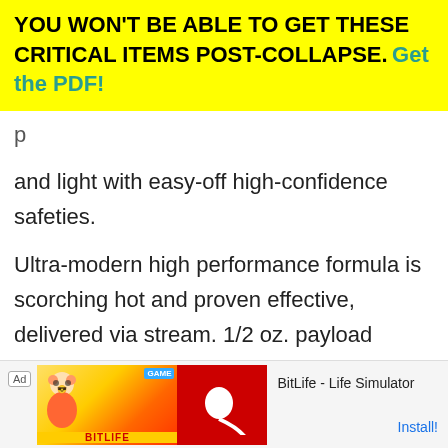YOU WON'T BE ABLE TO GET THESE CRITICAL ITEMS POST-COLLAPSE. Get the PDF!
p
and light with easy-off high-confidence safeties.
Ultra-modern high performance formula is scorching hot and proven effective, delivered via stream. 1/2 oz. payload provides 10 continuous seconds of spicy goodness.
The canisters also feature pocket clips, key ring shackles or carabiner clips for easy carry and the state of the art trigger mechanism ensures you won't drop...
[Figure (other): Advertisement banner for BitLife - Life Simulator app with Ad label, illustrated characters on yellow/orange background, red panel with sperm icon and BITLIFE text, app name and Install! button]